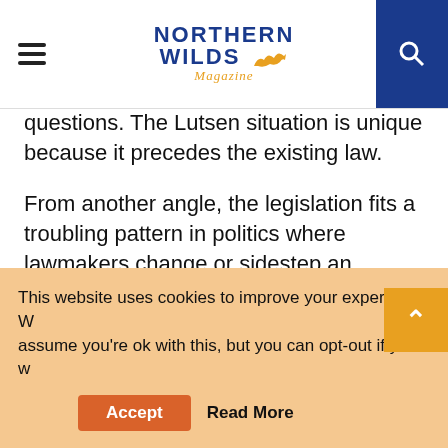Northern Wilds Magazine
questions. The Lutsen situation is unique because it precedes the existing law.
From another angle, the legislation fits a troubling pattern in politics where lawmakers change or sidestep an environmental law to suit the needs of a special interest. An example in the current Legislative session was changing the sulphate standard for wild rice waters, which benefits mining interests. The recent removal of wolves in the northern Rockies from the Endangered Species List by Congress is another example.
This website uses cookies to improve your experience. We assume you're ok with this, but you can opt-out if you wish. Accept Read More